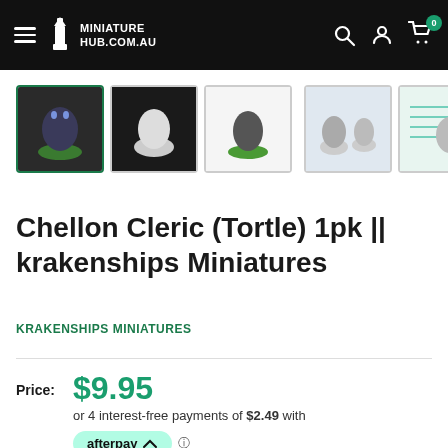Miniature Hub .com.au — navigation bar with hamburger, logo, search, account, cart (0)
[Figure (photo): Row of miniature figure thumbnail images: selected one (tortle cleric painted), white unpainted tortle, painted tortle on green base, two photos of multiple figures side by side, and a size-reference chart thumbnail]
Chellon Cleric (Tortle) 1pk || krakenships Miniatures
KRAKENSHIPS MINIATURES
Price: $9.95 or 4 interest-free payments of $2.49 with afterpay